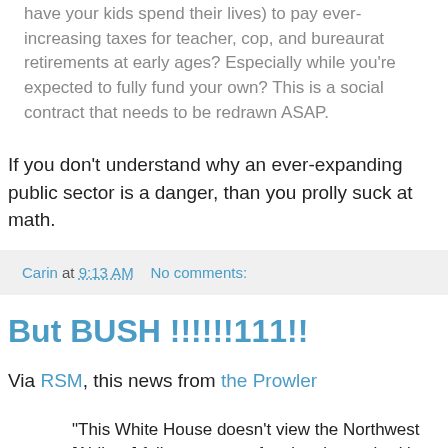have your kids spend their lives) to pay ever-increasing taxes for teacher, cop, and bureaurat retirements at early ages? Especially while you're expected to fully fund your own? This is a social contract that needs to be redrawn ASAP.
If you don't understand why an ever-expanding public sector is a danger, than you prolly suck at math.
Carin at 9:13 AM    No comments:
But BUSH !!!!!!111!!
Via RSM, this news from the Prowler
"This White House doesn't view the Northwest [Airlines] failure as one of national security, it's a